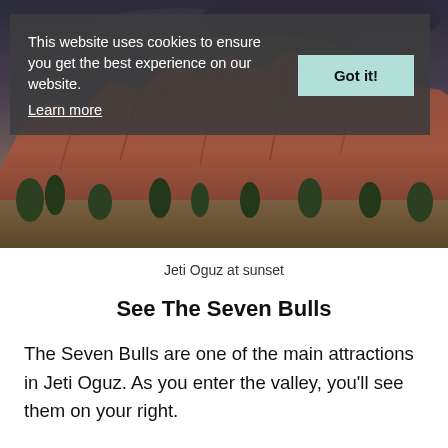[Figure (photo): Panoramic photo of Jeti Oguz red rock formations at sunset, with dramatic cloudy sky and green trees at the base]
This website uses cookies to ensure you get the best experience on our website. Learn more  Got it!
Jeti Oguz at sunset
See The Seven Bulls
The Seven Bulls are one of the main attractions in Jeti Oguz. As you enter the valley, you'll see them on your right.